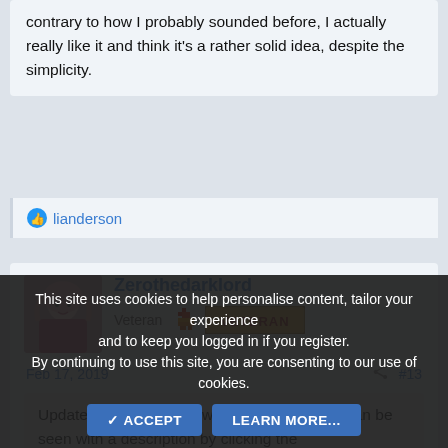...I'm too far along by now to do it, but contrary to how I probably sounded before, I actually really like it and think it's a rather solid idea, despite the simplicity.
lianderson
Zerothedarklord
Veteran
Feb 17, 2019
#13
Update! I've added a new screenshot, which can be seen with a description by clicking the...
This site uses cookies to help personalise content, tailor your experience and to keep you logged in if you register.
By continuing to use this site, you are consenting to our use of cookies.
ACCEPT
LEARN MORE...